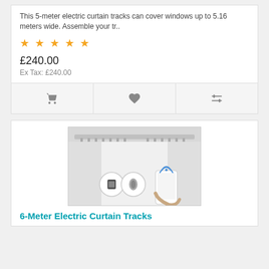This 5-meter electric curtain tracks can cover windows up to 5.16 meters wide. Assemble your tr..
[Figure (other): Five gold star rating icons]
£240.00
Ex Tax: £240.00
[Figure (other): Action bar with cart icon, heart/wishlist icon, and compare icon on grey background]
[Figure (photo): Photo of electric curtain track system installed with smart home devices and a hand holding a smartphone with WiFi symbol]
6-Meter Electric Curtain Tracks